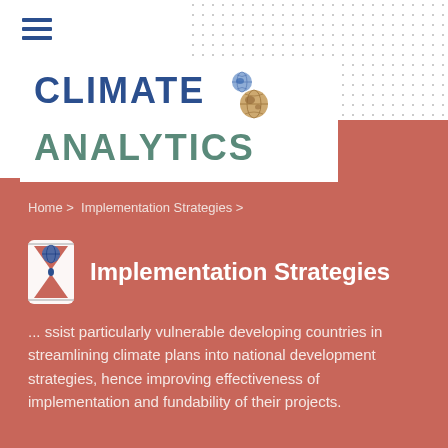[Figure (logo): Climate Analytics logo with two globe icons — CLIMATE in dark blue bold, ANALYTICS in teal/green bold]
Home > Implementation Strategies >
Implementation Strategies
...assist particularly vulnerable developing countries in streamlining climate plans into national development strategies, hence improving effectiveness of implementation and fundability of their projects.